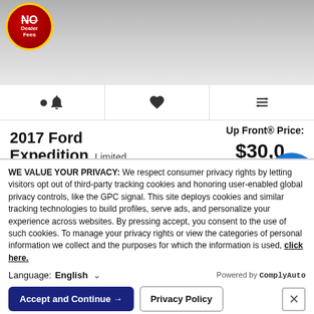[Figure (photo): Top portion of a car listing page showing a vehicle image with a 'No Dealer Fees' badge on the left, and the car's silver/gray exterior visible in the background.]
[Figure (infographic): Icon row with three icons: a bell (alert), a heart (save/favorite), and a compare arrows icon, separated by vertical dividers.]
2017 Ford Expedition Limited
Up Front® Price: $30,0xx
Miles: 81,389
Stock: A77719M
Mullinax Ford of Central Florida (Apopka)
855-997-1199
WE VALUE YOUR PRIVACY: We respect consumer privacy rights by letting visitors opt out of third-party tracking cookies and honoring user-enabled global privacy controls, like the GPC signal. This site deploys cookies and similar tracking technologies to build profiles, serve ads, and personalize your experience across websites. By pressing accept, you consent to the use of such cookies. To manage your privacy rights or view the categories of personal information we collect and the purposes for which the information is used, click here.
Language: English
Powered by ComplyAuto
Accept and Continue →
Privacy Policy